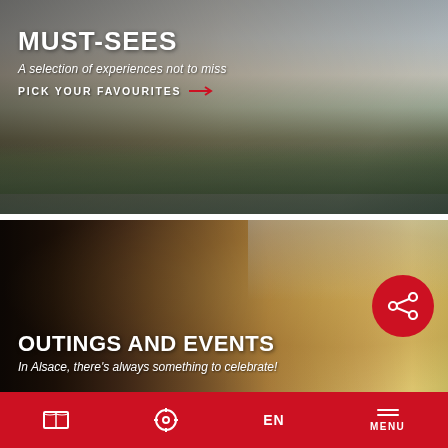[Figure (photo): Top card showing a woman looking at a picturesque canal scene in Alsace/Strasbourg with half-timbered houses, flower boxes, and historic architecture]
MUST-SEES
A selection of experiences not to miss
PICK YOUR FAVOURITES →
[Figure (photo): Bottom card showing a close-up of a man in a straw hat playing a trumpet, with Alsatian architecture in the background]
OUTINGS AND EVENTS
In Alsace, there's always something to celebrate!